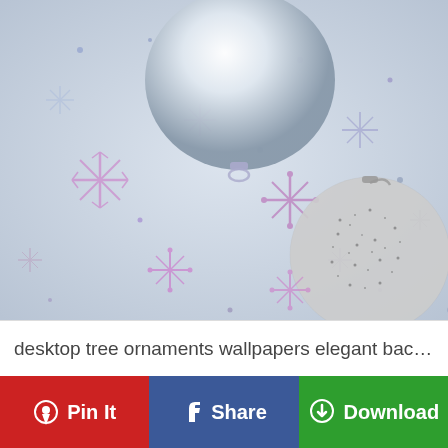[Figure (photo): Close-up photo of white and silver Christmas ornament balls with purple and blue snowflake decorations scattered on a white background. One large shiny smooth white ball is at the top center, and a glittery silver ball is at the bottom right.]
desktop tree ornaments wallpapers elegant backgroun...
Pin It
Share
Download